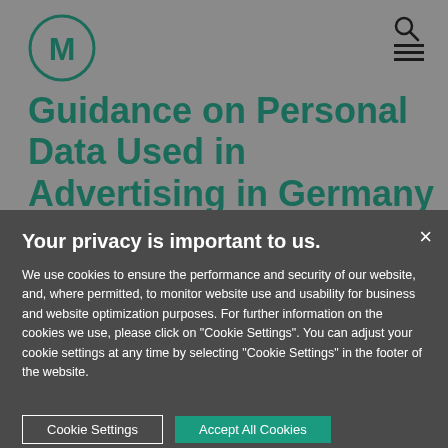[Figure (logo): Circular logo with letter M in teal/dark green outline on grey background]
Guidance on Personal Data Used in Advertising in Germany
By Paul Melot de Beauregard on Jan 22, 2014
Posted In Advertising & Marketing, Data Privacy
Your privacy is important to us.
We use cookies to ensure the performance and security of our website, and, where permitted, to monitor website use and usability for business and website optimization purposes. For further information on the cookies we use, please click on "Cookie Settings". You can adjust your cookie settings at any time by selecting "Cookie Settings" in the footer of the website.